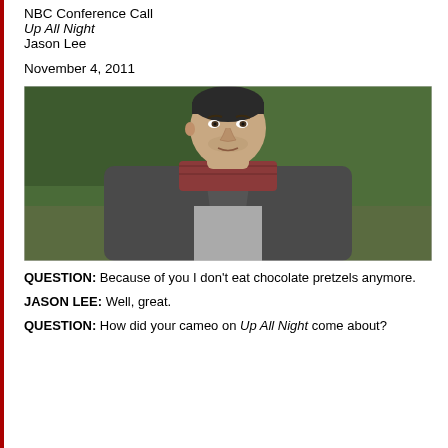NBC Conference Call
Up All Night
Jason Lee
November 4, 2011
[Figure (photo): Headshot of Jason Lee, a man with short dark hair slicked back, wearing a grey t-shirt under a red plaid shirt and dark grey zip-up fleece jacket, standing outdoors with green foliage in the background.]
QUESTION: Because of you I don't eat chocolate pretzels anymore.
JASON LEE: Well, great.
QUESTION: How did your cameo on Up All Night come about?